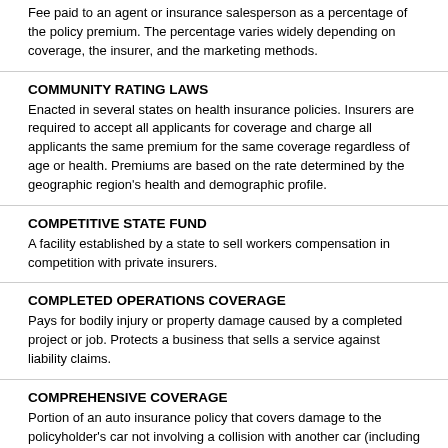Fee paid to an agent or insurance salesperson as a percentage of the policy premium. The percentage varies widely depending on coverage, the insurer, and the marketing methods.
COMMUNITY RATING LAWS
Enacted in several states on health insurance policies. Insurers are required to accept all applicants for coverage and charge all applicants the same premium for the same coverage regardless of age or health. Premiums are based on the rate determined by the geographic region's health and demographic profile.
COMPETITIVE STATE FUND
A facility established by a state to sell workers compensation in competition with private insurers.
COMPLETED OPERATIONS COVERAGE
Pays for bodily injury or property damage caused by a completed project or job. Protects a business that sells a service against liability claims.
COMPREHENSIVE COVERAGE
Portion of an auto insurance policy that covers damage to the policyholder's car not involving a collision with another car (including damage from fire, explosions, earthquakes, floods, and riots), and theft.
COMPULSORY AUTO INSURANCE
The minimum amount of auto liability insurance that meets a state law. Financial responsibility laws in every state require all automobile drivers